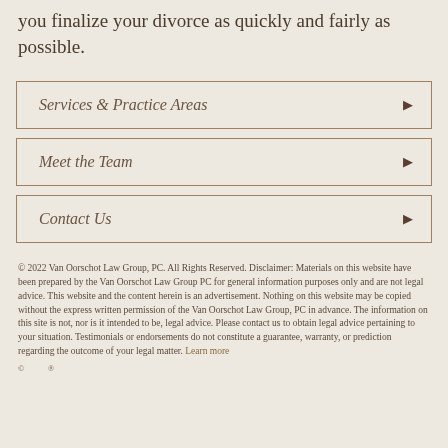you finalize your divorce as quickly and fairly as possible.
Services & Practice Areas
Meet the Team
Contact Us
© 2022 Van Oorschot Law Group, PC. All Rights Reserved. Disclaimer: Materials on this website have been prepared by the Van Oorschot Law Group PC for general information purposes only and are not legal advice. This website and the content herein is an advertisement. Nothing on this website may be copied without the express written permission of the Van Oorschot Law Group, PC in advance. The information on this site is not, nor is it intended to be, legal advice. Please contact us to obtain legal advice pertaining to your situation. Testimonials or endorsements do not constitute a guarantee, warranty, or prediction regarding the outcome of your legal matter. Learn more